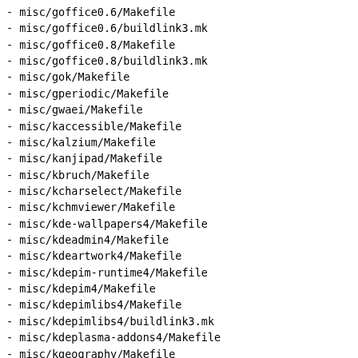- misc/goffice0.6/Makefile
- misc/goffice0.6/buildlink3.mk
- misc/goffice0.8/Makefile
- misc/goffice0.8/buildlink3.mk
- misc/gok/Makefile
- misc/gperiodic/Makefile
- misc/gwaei/Makefile
- misc/kaccessible/Makefile
- misc/kalzium/Makefile
- misc/kanjipad/Makefile
- misc/kbruch/Makefile
- misc/kcharselect/Makefile
- misc/kchmviewer/Makefile
- misc/kde-wallpapers4/Makefile
- misc/kdeadmin4/Makefile
- misc/kdeartwork4/Makefile
- misc/kdepim-runtime4/Makefile
- misc/kdepim4/Makefile
- misc/kdepimlibs4/Makefile
- misc/kdepimlibs4/buildlink3.mk
- misc/kdeplasma-addons4/Makefile
- misc/kgeography/Makefile
- misc/kig/Makefile
- misc/kiten/Makefile
- misc/klettres/Makefile
- misc/kmag/Makefile
- misc/kmousetool/Makefile
- misc/kmouth/Makefile
- misc/kremotecontrol/Makefile
- misc/kstars/Makefile